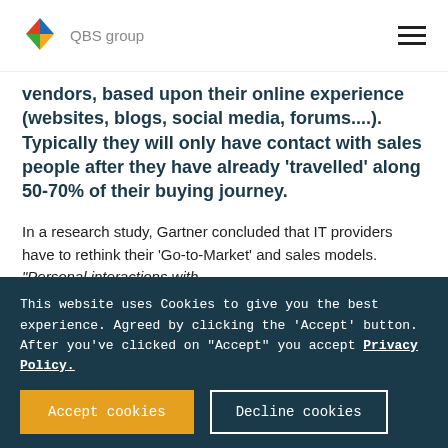QBS group
vendors, based upon their online experience (websites, blogs, social media, forums....). Typically they will only have contact with sales people after they have already 'travelled' along 50-70% of their buying journey.
In a research study, Gartner concluded that IT providers have to rethink their 'Go-to-Market' and sales models. "Personal interactions with
This website uses Cookies to give you the best experience. Agreed by clicking the 'Accept' button. After you've clicked on "Accept" you accept Privacy Policy.
Accept cookies
Decline cookies